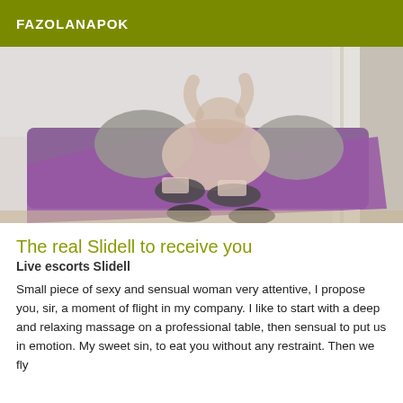FAZOLANAPOK
[Figure (photo): A person reclining on a purple couch/sofa with grey pillows, wearing dark stockings, in a room with a window and curtains. The image is somewhat blurred/soft focus.]
The real Slidell to receive you
Live escorts Slidell
Small piece of sexy and sensual woman very attentive, I propose you, sir, a moment of flight in my company. I like to start with a deep and relaxing massage on a professional table, then sensual to put us in emotion. My sweet sin, to eat you without any restraint. Then we fly away together...